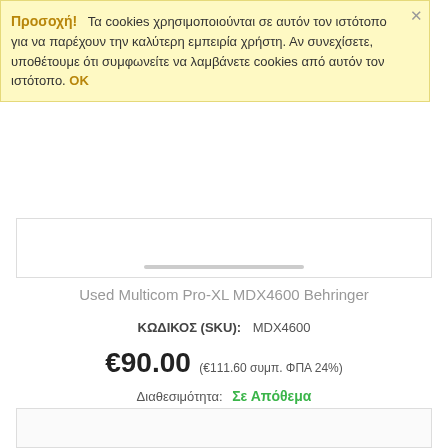Προσοχή! Τα cookies χρησιμοποιούνται σε αυτόν τον ιστότοπο για να παρέχουν την καλύτερη εμπειρία χρήστη. Αν συνεχίσετε, υποθέτουμε ότι συμφωνείτε να λαμβάνετε cookies από αυτόν τον ιστότοπο. OK
[Figure (photo): Product image area with horizontal scrollbar]
Used Multicom Pro-XL MDX4600 Behringer
ΚΩΔΙΚΟΣ (SKU): MDX4600
€90.00 (€111.60 συμπ. ΦΠΑ 24%)
Διαθεσιμότητα: Σε Απόθεμα
Διαθεσιμότητα: 3 Είδος(η)